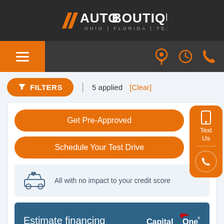AUTO BOUTIQUE OHIO | FLORIDA | TEXAS
[Figure (logo): Auto Boutique logo with orange double slash marks and text OHIO | FLORIDA | TEXAS]
[Figure (infographic): Navigation bar with hamburger menu icon (orange button), location pin icon, clock icon, and phone icon in orange]
FILTERS  5 applied  [Clear]
Get Pre-Approved
Schedule Your Test Drive
Text Us
All with no impact to your credit score
Estimate financing